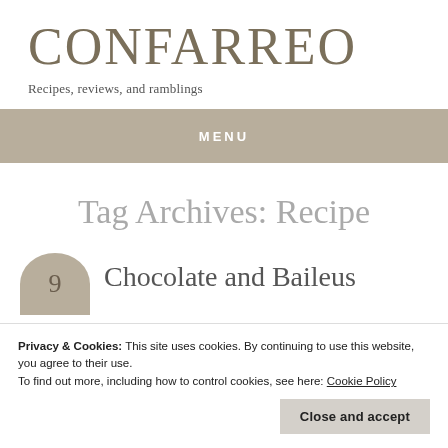CONFARREO
Recipes, reviews, and ramblings
MENU
Tag Archives: Recipe
9  Chocolate and Baileus
Privacy & Cookies: This site uses cookies. By continuing to use this website, you agree to their use.
To find out more, including how to control cookies, see here: Cookie Policy
Close and accept